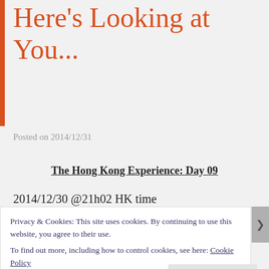Here's Looking at You...
Posted on 2014/12/31
The Hong Kong Experience: Day 09
2014/12/30 @21h02 HK time
A.K.A. A Second Look...
Small favors that I was able to go out for a bit without
Privacy & Cookies: This site uses cookies. By continuing to use this website, you agree to their use.
To find out more, including how to control cookies, see here: Cookie Policy
Close and accept